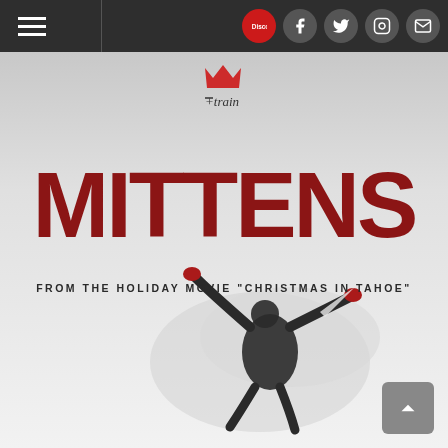[Figure (screenshot): Website navigation bar with hamburger menu on left, and social media icons (Discogs, Facebook, Twitter, Instagram, Email) on right, dark gray background]
[Figure (illustration): Album cover for Train - Mittens. Shows large red bold text 'MITTENS' on snowy background with a person making a snow angel at the bottom. Has Train logo at top and subtitle 'FROM THE HOLIDAY MOVIE CHRISTMAS IN TAHOE']